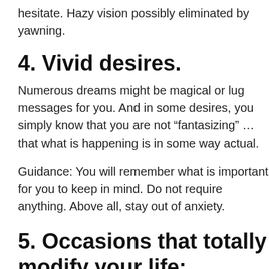hesitate. Hazy vision possibly eliminated by yawning.
4. Vivid desires.
Numerous dreams might be magical or lug messages for you. And in some desires, you simply know that you are not “fantasizing” … that what is happening is in some way actual.
Guidance: You will remember what is important for you to keep in mind. Do not require anything. Above all, stay out of anxiety.
5. Occasions that totally modify your life:.